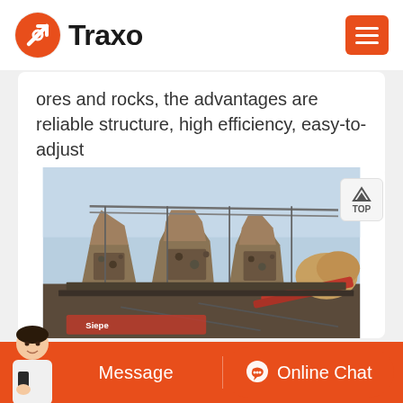Traxo
ores and rocks, the advantages are reliable structure, high efficiency, easy-to-adjust
[Figure (photo): Industrial mining/crushing facility with multiple large cone crushers or similar aggregate processing equipment arranged in a row, with conveyor belts and steel framework visible.]
Message | Online Chat